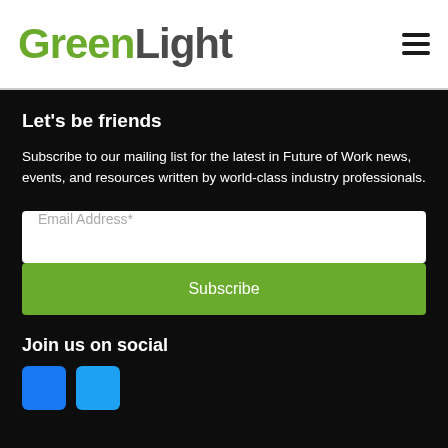GreenLight
Let's be friends
Subscribe to our mailing list for the latest in Future of Work news, events, and resources written by world-class industry professionals.
Email Address*
Subscribe
Join us on social